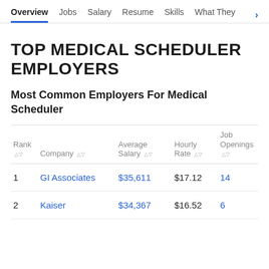Overview  Jobs  Salary  Resume  Skills  What They >
TOP MEDICAL SCHEDULER EMPLOYERS
Most Common Employers For Medical Scheduler
| Rank | Company | Average Salary | Hourly Rate | Job Openings |
| --- | --- | --- | --- | --- |
| 1 | GI Associates | $35,611 | $17.12 | 14 |
| 2 | Kaiser | $34,367 | $16.52 | 6 |